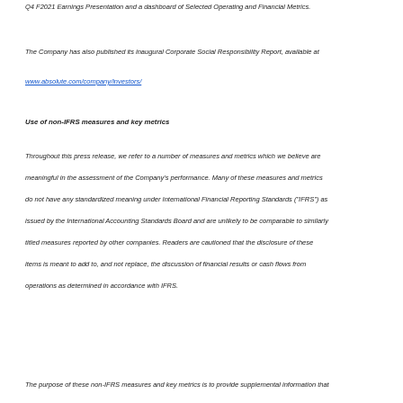Q4 F2021 Earnings Presentation and a dashboard of Selected Operating and Financial Metrics.
The Company has also published its inaugural Corporate Social Responsibility Report, available at
www.absolute.com/company/investors/
Use of non-IFRS measures and key metrics
Throughout this press release, we refer to a number of measures and metrics which we believe are meaningful in the assessment of the Company's performance. Many of these measures and metrics do not have any standardized meaning under International Financial Reporting Standards ("IFRS") as issued by the International Accounting Standards Board and are unlikely to be comparable to similarly titled measures reported by other companies. Readers are cautioned that the disclosure of these items is meant to add to, and not replace, the discussion of financial results or cash flows from operations as determined in accordance with IFRS.
The purpose of these non-IFRS measures and key metrics is to provide supplemental information that